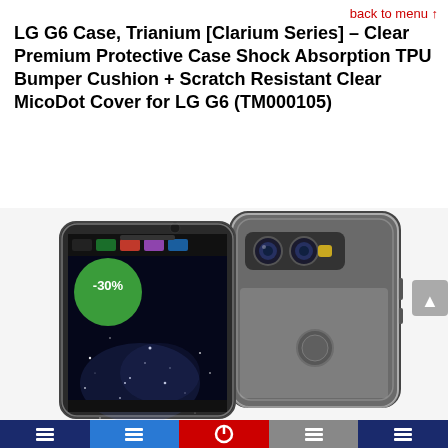back to menu ↑
LG G6 Case, Trianium [Clarium Series] – Clear Premium Protective Case Shock Absorption TPU Bumper Cushion + Scratch Resistant Clear MicoDot Cover for LG G6 (TM000105)
[Figure (photo): Product photo of LG G6 smartphone in a clear protective case (Trianium Clarium Series). Two phones shown – one facing front showing a galaxy wallpaper, one facing back showing dual camera. A green circular badge shows -30% discount.]